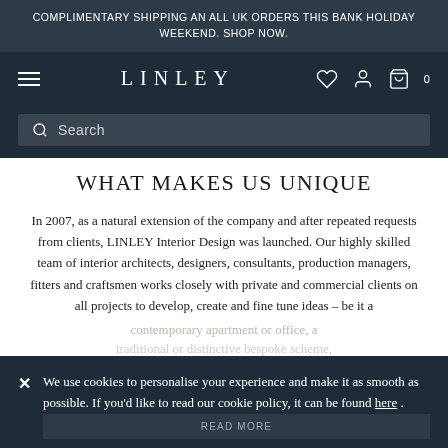COMPLIMENTARY SHIPPING AN ALL UK ORDERS THIS BANK HOLIDAY WEEKEND. SHOP NOW.
LINLEY
Search
WHAT MAKES US UNIQUE
In 2007, as a natural extension of the company and after repeated requests from clients, LINLEY Interior Design was launched. Our highly skilled team of interior architects, designers, consultants, production managers, fitters and craftsmen works closely with private and commercial clients on all projects to develop, create and fine tune ideas – be it a contemporary apartment or office, a
We use cookies to personalise your experience and make it as smooth as possible. If you'd like to read our cookie policy, it can be found here .
READ MORE